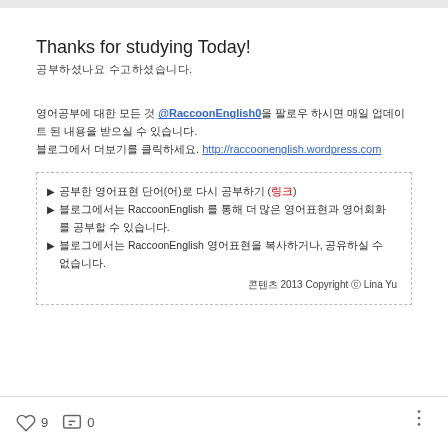Thanks for studying Today!
공부하셨나요 수고하셨습니다.
영어공부에 대한 모든 것 @RaccoonEnglish0을 팔로우 하시면 매일 업데이트 된 내용을 받으실 수 있습니다. 블로그에서 더보기를 클릭하세요. http://raccoonenglish.wordpress.com
▶ 공부한 영어표현 단어(어)로 다시 공부하기 (링크)
▶ 블로그에서는 RaccoonEnglish 를 통해 더 많은 영어표현과 영어회화를 공부할 수 있습니다.
▶ 블로그에서는 RaccoonEnglish 영어표현을 복사하거나, 공유하실 수 없습니다.
콘텐츠 2013 Copyright ⓒ Lina Yu
♡ 9   💬 0